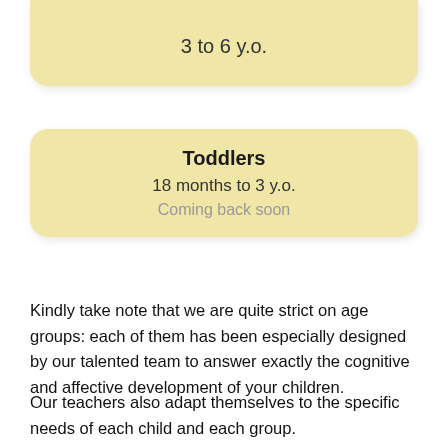3 to 6 y.o.
Toddlers
18 months to 3 y.o.
Coming back soon
Kindly take note that we are quite strict on age groups: each of them has been especially designed by our talented team to answer exactly the cognitive and affective development of your children.
Our teachers also adapt themselves to the specific needs of each child and each group.